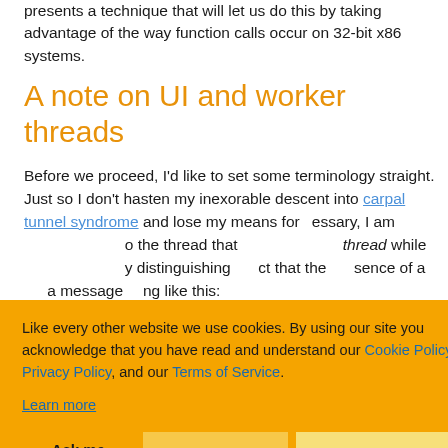presents a technique that will let us do this by taking advantage of the way function calls occur on 32-bit x86 systems.
A note on UI and worker threads
Before we proceed, I'd like to set some terminology straight. Just so I don't hasten my inexorable descent into carpal tunnel syndrome and lose my means for ...essary, I am ...o the thread that ...thread while ...y distinguishing ...ct that the ...sence of a ...a message ...ng like this:
Like every other website we use cookies. By using our site you acknowledge that you have read and understand our Cookie Policy, Privacy Policy, and our Terms of Service. Learn more
Ask me later
Decline
Allow cookies
[Figure (screenshot): Code bar at bottom with C++ label and copy icon]